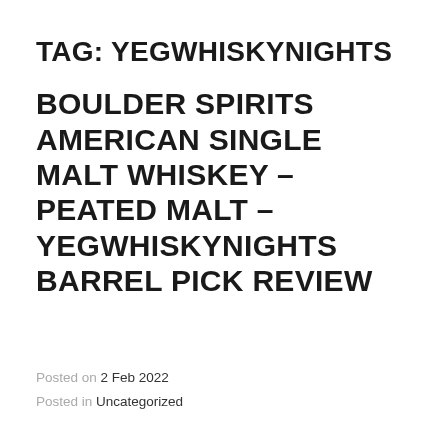TAG: YEGWHISKYNIGHTS
BOULDER SPIRITS AMERICAN SINGLE MALT WHISKEY – PEATED MALT – YEGWHISKYNIGHTS BARREL PICK REVIEW
Posted on 2 Feb 2022
Posted in Uncategorized